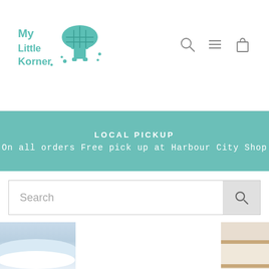[Figure (logo): My Little Korner logo with teal mushroom/character icon and stylized text]
[Figure (other): Navigation icons: search (magnifying glass), menu (hamburger lines), and shopping bag]
LOCAL PICKUP
On all orders Free pick up at Harbour City Shop
Search
[Figure (photo): Partial product images at bottom of page: blue wavy pattern on left, white center, beige/tan shelving unit on right]